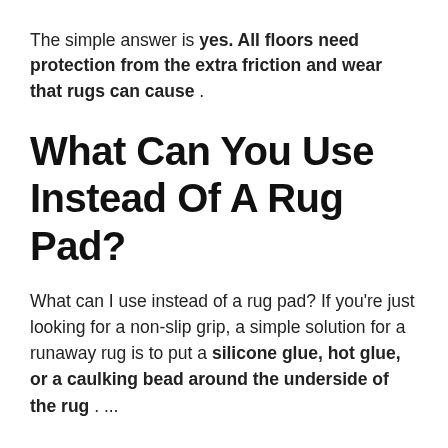The simple answer is yes. All floors need protection from the extra friction and wear that rugs can cause .
What Can You Use Instead Of A Rug Pad?
What can I use instead of a rug pad? If you're just looking for a non-slip grip, a simple solution for a runaway rug is to put a silicone glue, hot glue, or a caulking bead around the underside of the rug . ...